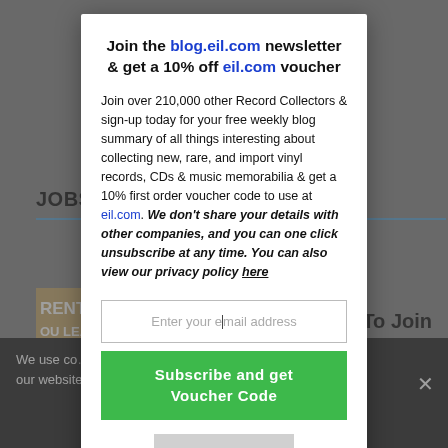[Figure (screenshot): Background webpage with 'JOBS AT E...' heading, thumbnail images, and a dark cookie consent bar at the bottom, overlaid by a modal popup]
Join the blog.eil.com newsletter & get a 10% off eil.com voucher
Join over 210,000 other Record Collectors & sign-up today for your free weekly blog summary of all things interesting about collecting new, rare, and import vinyl records, CDs & music memorabilia & get a 10% first order voucher code to use at eil.com. We don't share your details with other companies, and you can one click unsubscribe at any time. You can also view our privacy policy here
Enter your email address
Subscribe and get Voucher Code
CLOSE X